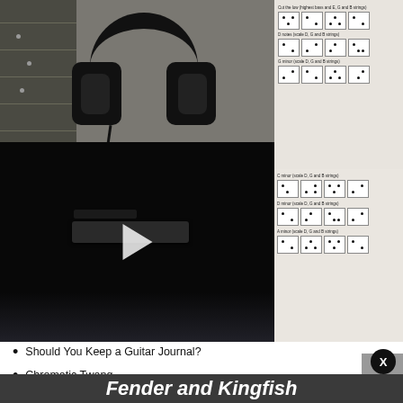[Figure (photo): Photo of headphones resting on guitar sheet music, shown above a dark video player with a play button. The left side shows a guitar fretboard, and the right side shows printed guitar chord diagrams on paper.]
Should You Keep a Guitar Journal?
Chromatic Twang
[Figure (screenshot): Scroll-to-top button (gray box with upward arrow)]
[Figure (other): Close button - black circle with X]
[Figure (other): Advertisement banner: Chimney Problem? Call Us Now - OHA Heating and Air]
Fender and Kingfish